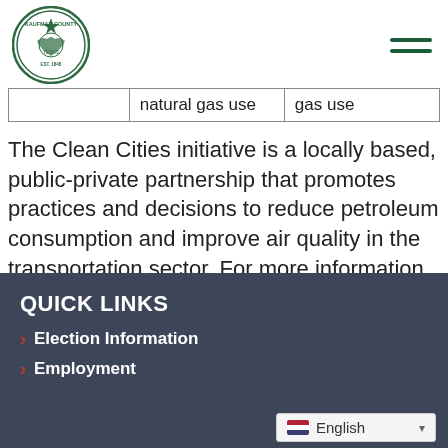Kaufman County header with logo and navigation
|  | natural gas use | gas use |
| --- | --- | --- |
|  | natural gas use | gas use |
The Clean Cities initiative is a locally based, public-private partnership that promotes practices and decisions to reduce petroleum consumption and improve air quality in the transportation sector. For more information, visit www.dfwcleancities.org.
QUICK LINKS
Election Information
Employment